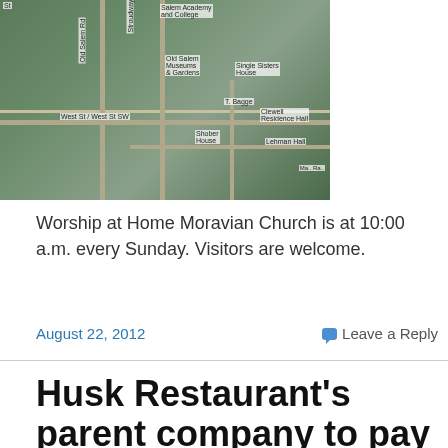[Figure (map): Aerial/satellite map view showing Old Salem Museums & Gardens area in Winston-Salem, NC, with labels for Salem Academy and College, Single Sisters House, Clewell Residence Hall, Lehman Hall, Shober House, T. Bagge, West St, Old Salem Rd, and Stroudway.]
Worship at Home Moravian Church is at 10:00 a.m. every Sunday. Visitors are welcome.
August 22, 2012  💬 Leave a Reply
Husk Restaurant’s parent company to pay $1.1 million for DWI wrongful death by assistant manager